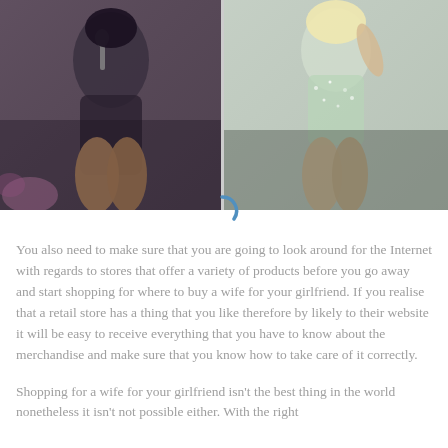[Figure (photo): Two side-by-side concert performance photos. Left photo shows a dark-haired performer in a dark outfit on stage. Right photo shows a blonde performer in a sparkly green/silver bodysuit on stage.]
You also need to make sure that you are going to look around for the Internet with regards to stores that offer a variety of products before you go away and start shopping for where to buy a wife for your girlfriend. If you realise that a retail store has a thing that you like therefore by likely to their website it will be easy to receive everything that you have to know about the merchandise and make sure that you know how to take care of it correctly.
Shopping for a wife for your girlfriend isn't the best thing in the world nonetheless it isn't not possible either. With the right